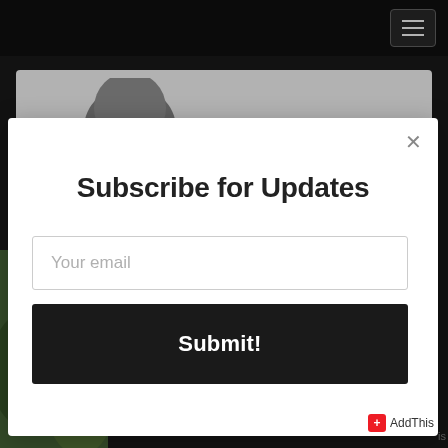Navigation bar with hamburger menu
[Figure (screenshot): Background webpage with dark navigation bar, white card area with partial profile image, and nature/green photo on the left side]
Subscribe for Updates
Your email
Submit!
AddThis
is